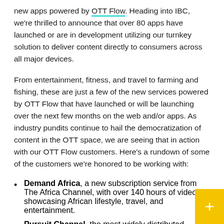new apps powered by OTT Flow. Heading into IBC, we're thrilled to announce that over 80 apps have launched or are in development utilizing our turnkey solution to deliver content directly to consumers across all major devices.
From entertainment, fitness, and travel to farming and fishing, these are just a few of the new services powered by OTT Flow that have launched or will be launching over the next few months on the web and/or apps. As industry pundits continue to hail the democratization of content in the OTT space, we are seeing that in action with our OTT Flow customers. Here's a rundown of some of the customers we're honored to be working with:
Demand Africa, a new subscription service from The Africa Channel, with over 140 hours of video showcasing African lifestyle, travel, and entertainment.
Pursuit Channel, the most widely distributed hunting, fishing, shooting television network in